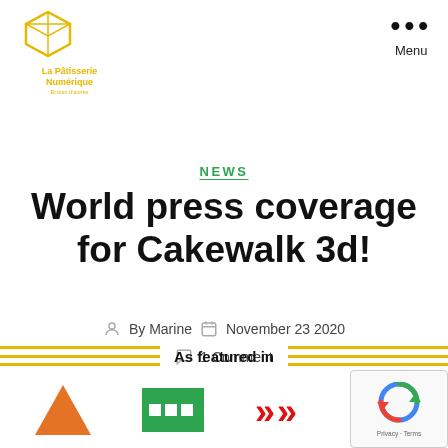[Figure (logo): La Pâtisserie Numérique logo with yellow box icon and text]
Menu
NEWS
World press coverage for Cakewalk 3d!
By Marine   November 23 2020
1 Comment
As featured in
[Figure (logo): Bottom logos including green, red/orange brand logos]
[Figure (logo): reCAPTCHA Privacy - Terms overlay]